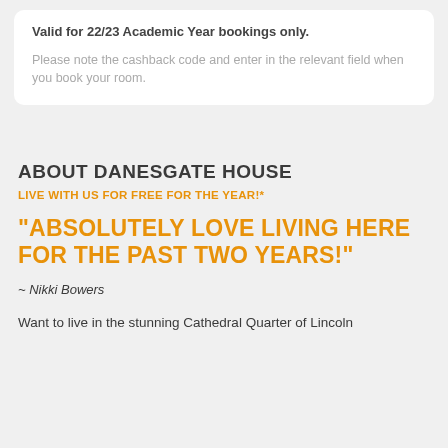Valid for 22/23 Academic Year bookings only.
Please note the cashback code and enter in the relevant field when you book your room.
ABOUT DANESGATE HOUSE
LIVE WITH US FOR FREE FOR THE YEAR!*
"ABSOLUTELY LOVE LIVING HERE FOR THE PAST TWO YEARS!"
~ Nikki Bowers
Want to live in the stunning Cathedral Quarter of Lincoln